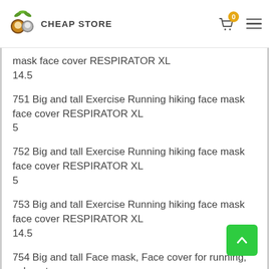CHEAP STORE
mask face cover RESPIRATOR XL
14.5
751 Big and tall Exercise Running hiking face mask face cover RESPIRATOR XL
5
752 Big and tall Exercise Running hiking face mask face cover RESPIRATOR XL
5
753 Big and tall Exercise Running hiking face mask face cover RESPIRATOR XL
14.5
754 Big and tall Face mask, Face cover for running, exhaust.
15.5
755 Big and tall Exercise Running hiking face